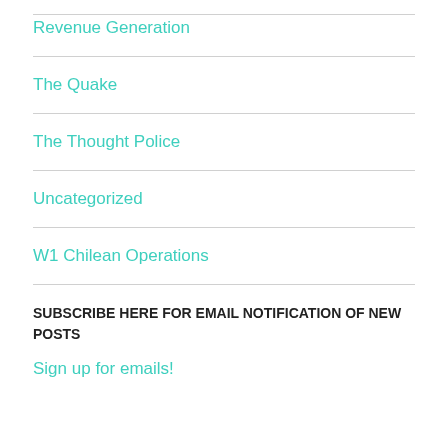Revenue Generation
The Quake
The Thought Police
Uncategorized
W1 Chilean Operations
SUBSCRIBE HERE FOR EMAIL NOTIFICATION OF NEW POSTS
Sign up for emails!